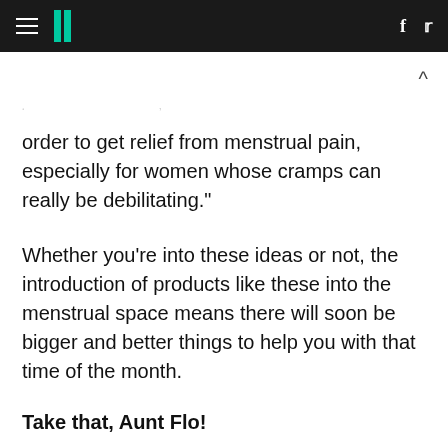HuffPost navigation header with hamburger menu, logo, Facebook and Twitter icons
order to get relief from menstrual pain, especially for women whose cramps can really be debilitating."
Whether you're into these ideas or not, the introduction of products like these into the menstrual space means there will soon be bigger and better things to help you with that time of the month.
Take that, Aunt Flo!